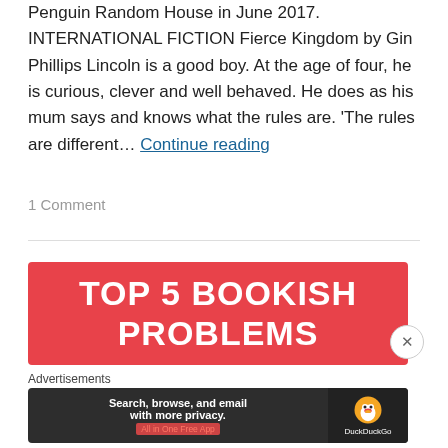Penguin Random House in June 2017. INTERNATIONAL FICTION Fierce Kingdom by Gin Phillips Lincoln is a good boy. At the age of four, he is curious, clever and well behaved. He does as his mum says and knows what the rules are. 'The rules are different… Continue reading
1 Comment
[Figure (infographic): Red banner advertisement with white bold text reading 'TOP 5 BOOKISH PROBLEMS']
Advertisements
[Figure (infographic): DuckDuckGo advertisement: 'Search, browse, and email with more privacy. All in One Free App' with DuckDuckGo duck logo on dark background]